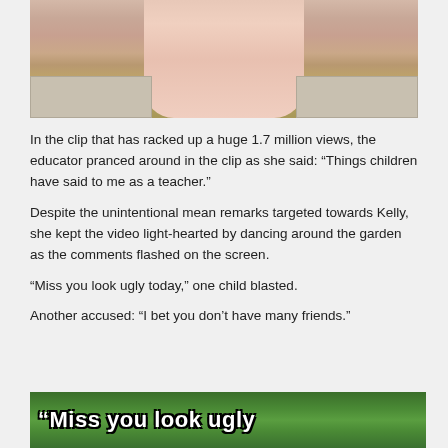[Figure (photo): Photo showing person's legs on a sidewalk/pavement background]
In the clip that has racked up a huge 1.7 million views, the educator pranced around in the clip as she said: “Things children have said to me as a teacher.”
Despite the unintentional mean remarks targeted towards Kelly, she kept the video light-hearted by dancing around the garden as the comments flashed on the screen.
“Miss you look ugly today,” one child blasted.
Another accused: “I bet you don’t have many friends.”
[Figure (screenshot): Screenshot from video showing green garden background with text overlay reading '“Miss you look ugly']